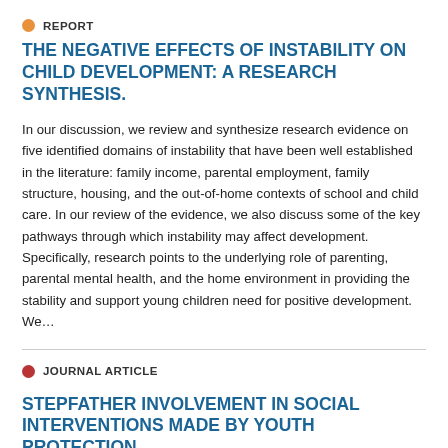REPORT
THE NEGATIVE EFFECTS OF INSTABILITY ON CHILD DEVELOPMENT: A RESEARCH SYNTHESIS.
In our discussion, we review and synthesize research evidence on five identified domains of instability that have been well established in the literature: family income, parental employment, family structure, housing, and the out-of-home contexts of school and child care. In our review of the evidence, we also discuss some of the key pathways through which instability may affect development. Specifically, research points to the underlying role of parenting, parental mental health, and the home environment in providing the stability and support young children need for positive development. We…
JOURNAL ARTICLE
STEPFATHER INVOLVEMENT IN SOCIAL INTERVENTIONS MADE BY YOUTH PROTECTION